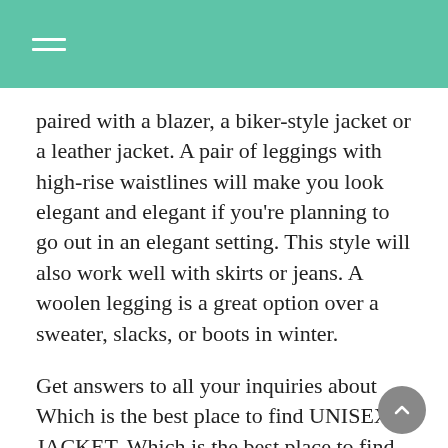paired with a blazer, a biker-style jacket or a leather jacket. A pair of leggings with high-rise waistlines will make you look elegant and elegant if you're planning to go out in an elegant setting. This style will also work well with skirts or jeans. A woolen legging is a great option over a sweater, slacks, or boots in winter.
Get answers to all your inquiries about Which is the best place to find UNISEX JACKET, Which is the best place to find UNISEX JACKET , as well as Which is the best place to